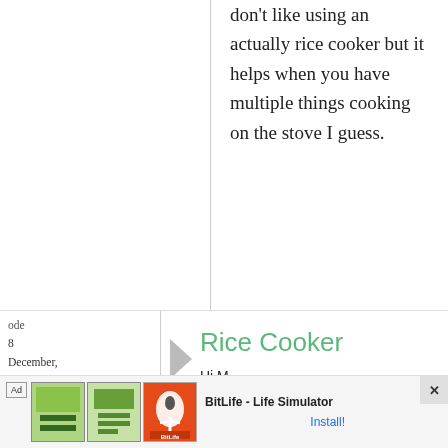don't like using an actually rice cooker but it helps when you have multiple things cooking on the stove I guess.
ode
8 December, 2007 - 10:59
permalink
Rice Cooker
Hi M,
[Figure (other): Advertisement banner for BitLife - Life Simulator app with green and orange game images and Install! button]